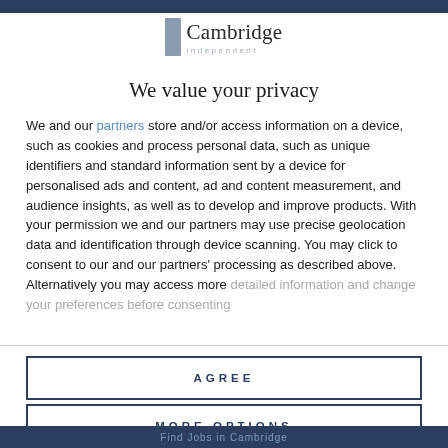[Figure (logo): Cambridge Independent logo with gray rectangle icon and serif text]
We value your privacy
We and our partners store and/or access information on a device, such as cookies and process personal data, such as unique identifiers and standard information sent by a device for personalised ads and content, ad and content measurement, and audience insights, as well as to develop and improve products. With your permission we and our partners may use precise geolocation data and identification through device scanning. You may click to consent to our and our partners' processing as described above. Alternatively you may access more detailed information and change your preferences before consenting
AGREE
MORE OPTIONS
Find Jobs in Cambridge